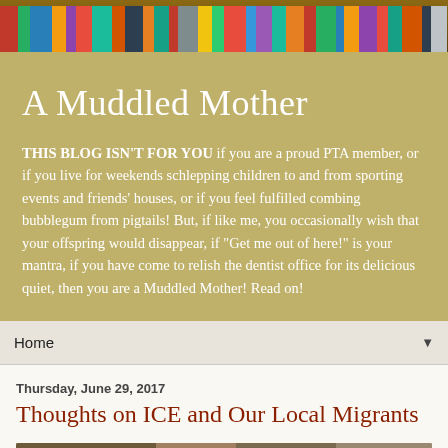[Figure (photo): Colorful books on a bookshelf, serving as the blog header image]
A Muddled Mother
THIS BLOG ISN'T FOR YOU if you are a proud PTA member, or if you live for weekends schlepping children to and from sporting events and friends' houses, or if you feel fulfilled combing bubblegum from pigtails! But, if like me, you occasionally wish that your offspring would disappear, if "Get me out of here!" is your mantra, if you have come to relish the dentist office for its delicious quiet, then you are a Muddled Mother! Read on!
Home
Thursday, June 29, 2017
Thoughts on ICE and Our Local Migrants
[Figure (photo): Partial view of an image related to the blog post about ICE and local migrants]